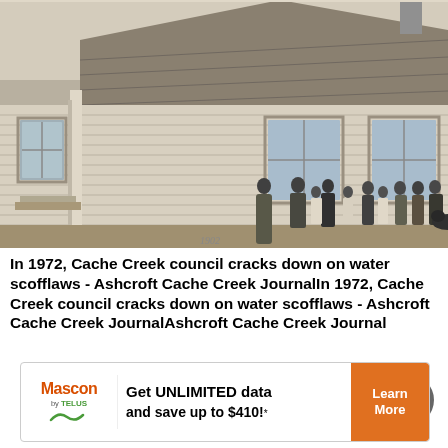[Figure (photo): Old black and white photograph showing a group of children and a teacher standing outside a white clapboard schoolhouse. The building has a pitched roof and windows visible on the side. Approximately 12 people are posed in a line in front of the building. A dog is visible at the far right. The photo appears to be from the late 1800s or early 1900s.]
In 1972, Cache Creek council cracks down on water scofflaws - Ashcroft Cache Creek JournalIn 1972, Cache Creek council cracks down on water scofflaws - Ashcroft Cache Creek JournalAshcroft Cache Creek Journal
[Figure (infographic): Advertisement for Mascon by TELUS: 'Get UNLIMITED data and save up to $410!*' with a Learn More button in orange.]